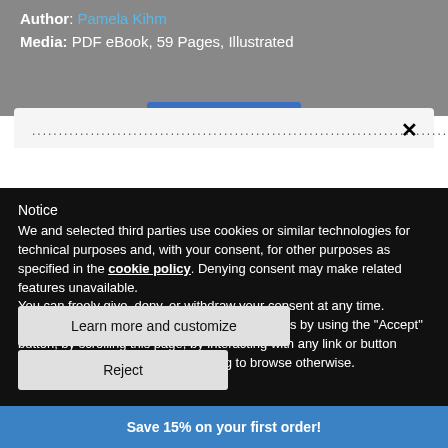Author: Pamela Kihm
Media: PDF eBook, 59 Pages, Illustrated
.....................................................................................................×
Notice
We and selected third parties use cookies or similar technologies for technical purposes and, with your consent, for other purposes as specified in the cookie policy. Denying consent may make related features unavailable.
You can freely give, deny, or withdraw your consent at any time.
You can consent to the use of such technologies by using the “Accept” button, by scrolling this page, by interacting with any link or button outside of this notice or by continuing to browse otherwise.
Learn more and customize
Save 15% on your first order!